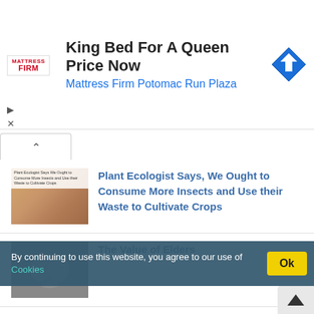[Figure (other): Mattress Firm advertisement banner with logo, text 'King Bed For A Queen Price Now / Mattress Firm Potomac Run Plaza', and navigation arrow icon]
[Figure (other): Thumbnail image of food dish with insects on a plate]
Plant Ecologist Says, We Ought to Consume More Insects and Use their Waste to Cultivate Crops
[Figure (photo): Black and white photo of elderly hands holding a young hand]
The Value of Elders
[Figure (photo): Blue-tinted microscopic image related to immune system]
Study of Rare Disease Offers New Perspectives on Immune System Response
By continuing to use this website, you agree to our use of Cookies